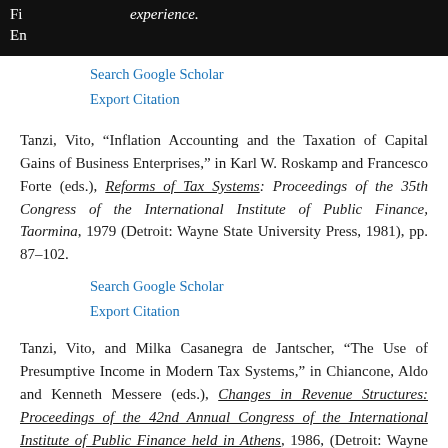experience.
Search Google Scholar | Export Citation
Tanzi, Vito, “Inflation Accounting and the Taxation of Capital Gains of Business Enterprises,” in Karl W. Roskamp and Francesco Forte (eds.), Reforms of Tax Systems: Proceedings of the 35th Congress of the International Institute of Public Finance, Taormina, 1979 (Detroit: Wayne State University Press, 1981), pp. 87–102.
Search Google Scholar | Export Citation
Tanzi, Vito, and Milka Casanegra de Jantscher, “The Use of Presumptive Income in Modern Tax Systems,” in Chiancone, Aldo and Kenneth Messere (eds.), Changes in Revenue Structures: Proceedings of the 42nd Annual Congress of the International Institute of Public Finance held in Athens, 1986, (Detroit: Wayne State University